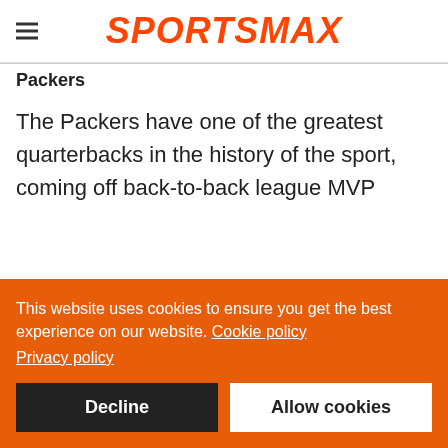SPORTSMAX
Packers
The Packers have one of the greatest quarterbacks in the history of the sport, coming off back-to-back league MVP
This website uses cookies to ensure you get the best experience on our website. Cookie policy
Privacy policy
Decline | Allow cookies